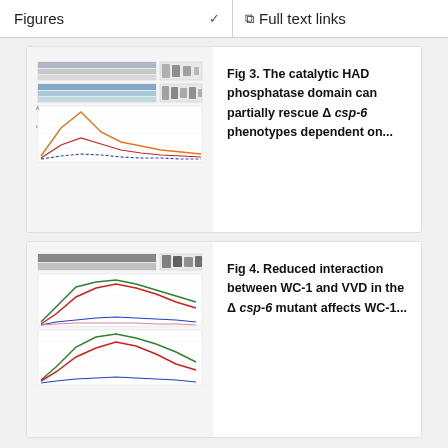Figures   ∨   Full text links
[Figure (other): Scientific figure thumbnail showing western blot panels and a line graph (Fig 3)]
Fig 3. The catalytic HAD phosphatase domain can partially rescue Δ csp-6 phenotypes dependent on...
[Figure (other): Scientific figure thumbnail showing western blot panels and multi-colored line graphs (Fig 4)]
Fig 4. Reduced interaction between WC-1 and VVD in the Δ csp-6 mutant affects WC-1...